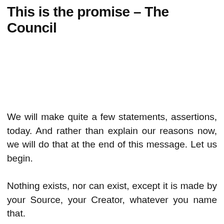This is the promise – The Council
We will make quite a few statements, assertions, today. And rather than explain our reasons now, we will do that at the end of this message. Let us begin.
Nothing exists, nor can exist, except it is made by your Source, your Creator, whatever you name that.
No one that you know, or that you do not know, exists outside of Creator.